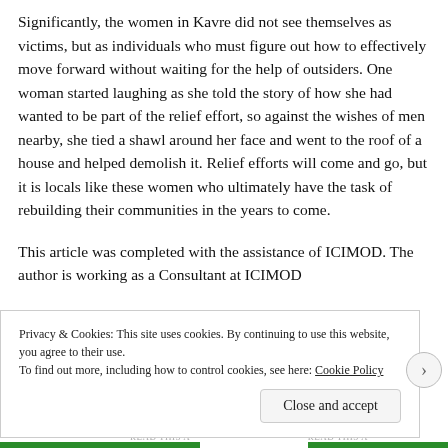Significantly, the women in Kavre did not see themselves as victims, but as individuals who must figure out how to effectively move forward without waiting for the help of outsiders. One woman started laughing as she told the story of how she had wanted to be part of the relief effort, so against the wishes of men nearby, she tied a shawl around her face and went to the roof of a house and helped demolish it. Relief efforts will come and go, but it is locals like these women who ultimately have the task of rebuilding their communities in the years to come.
This article was completed with the assistance of ICIMOD. The author is working as a Consultant at ICIMOD
Privacy & Cookies: This site uses cookies. By continuing to use this website, you agree to their use.
To find out more, including how to control cookies, see here: Cookie Policy
Close and accept